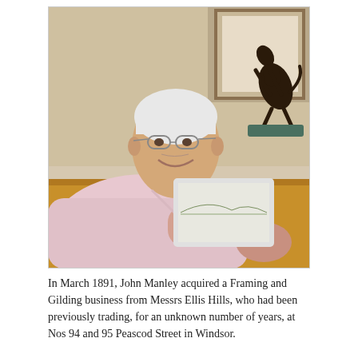[Figure (photo): An older man with white hair and glasses, wearing a light pink shirt, smiling and leaning on a wooden surface. Behind him is a dark bronze sculpture of a rearing horse on a green marble base, and framed artwork in the background.]
In March 1891, John Manley acquired a Framing and Gilding business from Messrs Ellis Hills, who had been previously trading, for an unknown number of years, at Nos 94 and 95 Peascod Street in Windsor.